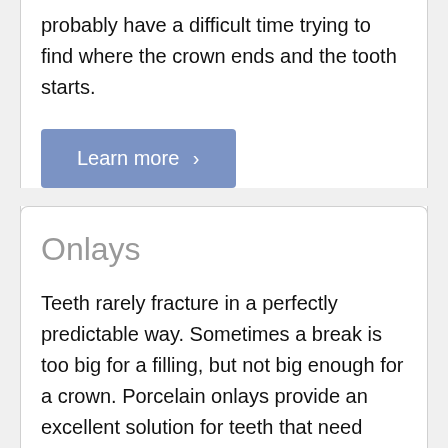probably have a difficult time trying to find where the crown ends and the tooth starts.
Learn more ›
Onlays
Teeth rarely fracture in a perfectly predictable way. Sometimes a break is too big for a filling, but not big enough for a crown. Porcelain onlays provide an excellent solution for teeth that need extra reinforcement without being covered entirely. Bonded into a place, they provide years of natural feel, function, and